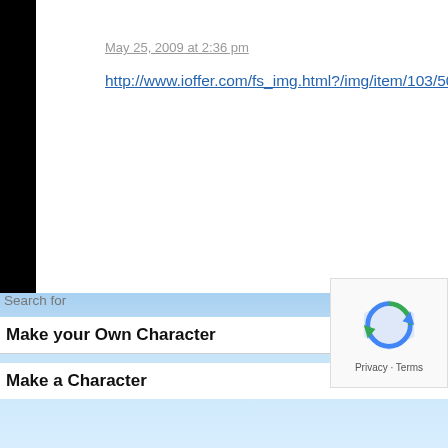May 25, 2009 at 2:36 pm
http://www.ioffer.com/fs_img.html?/img/item/103/508/457/cuYvl7po25itozR.jpg
http://www.selectspecs.com/Glasses/Occhiali-di-Bello/Newstyle-1008/ss190.77.html
What about this?
Tim says:
Search for
Make your Own Character
Make a Character